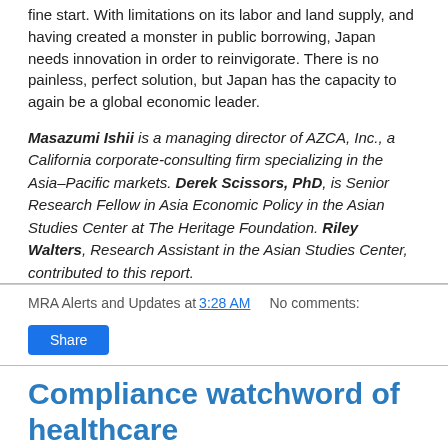fine start. With limitations on its labor and land supply, and having created a monster in public borrowing, Japan needs innovation in order to reinvigorate. There is no painless, perfect solution, but Japan has the capacity to again be a global economic leader.
Masazumi Ishii is a managing director of AZCA, Inc., a California corporate-consulting firm specializing in the Asia–Pacific markets. Derek Scissors, PhD, is Senior Research Fellow in Asia Economic Policy in the Asian Studies Center at The Heritage Foundation. Riley Walters, Research Assistant in the Asian Studies Center, contributed to this report.
http://www.heritage.org/research/reports/2013/08/what-japan-can-gain-from-sound-innovation
MRA Alerts and Updates at 3:28 AM    No comments:
Compliance watchword of healthcare